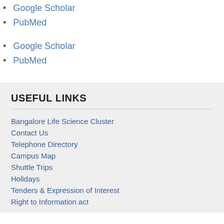Google Scholar
PubMed
Google Scholar
PubMed
USEFUL LINKS
Bangalore Life Science Cluster
Contact Us
Telephone Directory
Campus Map
Shuttle Trips
Holidays
Tenders & Expression of Interest
Right to Information act